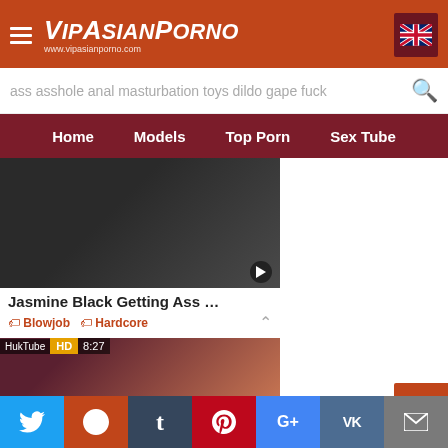VipAsianPorno www.vipasianporno.com
ass asshole anal masturbation toys dildo gape fuck
Home  Models  Top Porn  Sex Tube
[Figure (photo): Video thumbnail of a woman on a lounge chair]
Jasmine Black Getting Ass …
Blowjob  Hardcore
[Figure (photo): Video thumbnail - HukTube HD 8:27]
Ass Akira Hot Two Toy DP
Twitter Reddit Tumblr Pinterest G+ VK Mail